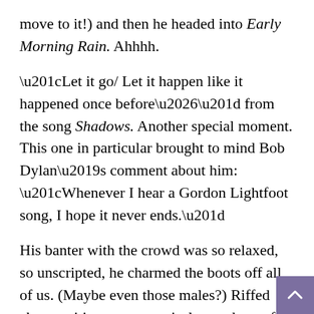move to it!) and then he headed into Early Morning Rain. Ahhhh.
“Let it go/ Let it happen like it happened once before…” from the song Shadows. Another special moment. This one in particular brought to mind Bob Dylan’s comment about him: “Whenever I hear a Gordon Lightfoot song, I hope it never ends.”
His banter with the crowd was so relaxed, so unscripted, he charmed the boots off all of us. (Maybe even those males?) Riffed about writing songs on airplanes, the perfect place he says, the juxtaposition of stars above, cities below… getting his “shoulders lowered” as a boy at the town barber shop in Orillia, and his joy at being “home,” and playing for us again.
A gentleman, pure and simple. And a poet non pa… By the end, he even makes you believe those lustre… words: